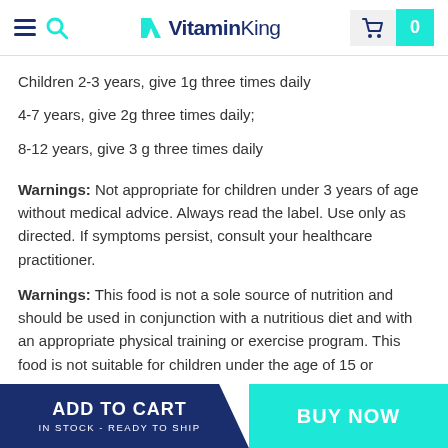VitaminKing
Children 2-3 years, give 1g three times daily
4-7 years, give 2g three times daily;
8-12 years, give 3 g three times daily
Warnings: Not appropriate for children under 3 years of age without medical advice. Always read the label. Use only as directed. If symptoms persist, consult your healthcare practitioner.
Warnings: This food is not a sole source of nutrition and should be used in conjunction with a nutritious diet and with an appropriate physical training or exercise program. This food is not suitable for children under the age of 15 or
ADD TO CART IN STOCK - READY TO SHIP BUY NOW